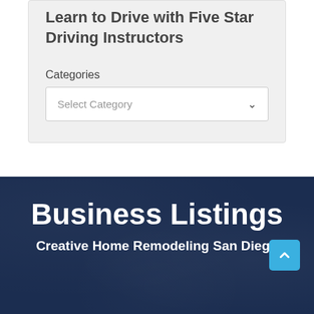Learn to Drive with Five Star Driving Instructors
Categories
Select Category
Business Listings
Creative Home Remodeling San Diego